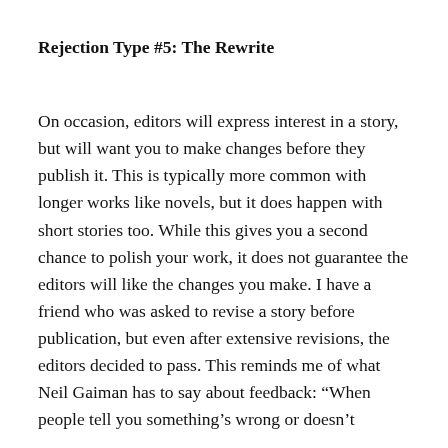Rejection Type #5: The Rewrite
On occasion, editors will express interest in a story, but will want you to make changes before they publish it. This is typically more common with longer works like novels, but it does happen with short stories too. While this gives you a second chance to polish your work, it does not guarantee the editors will like the changes you make. I have a friend who was asked to revise a story before publication, but even after extensive revisions, the editors decided to pass. This reminds me of what Neil Gaiman has to say about feedback: “When people tell you something’s wrong or doesn’t